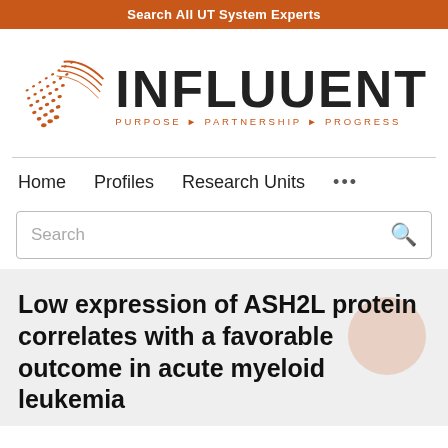Search All UT System Experts
[Figure (logo): Influuent logo with orange geometric shape and text 'INFLUUENT PURPOSE PARTNERSHIP PROGRESS']
Home   Profiles   Research Units   ...
Search
Low expression of ASH2L protein correlates with a favorable outcome in acute myeloid leukemia